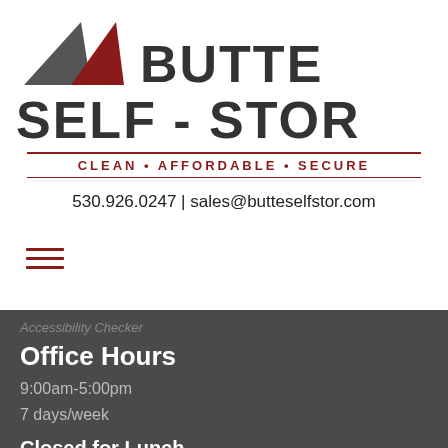[Figure (logo): Butte Self-Stor logo with two mountain triangle shapes (dark gray and red) and bold company name text]
CLEAN • AFFORDABLE • SECURE
530.926.0247 | sales@butteselfstor.com
Office Hours
9:00am-5:00pm
7 days/week
Closed for Lunch
1:00pm-2:30pm